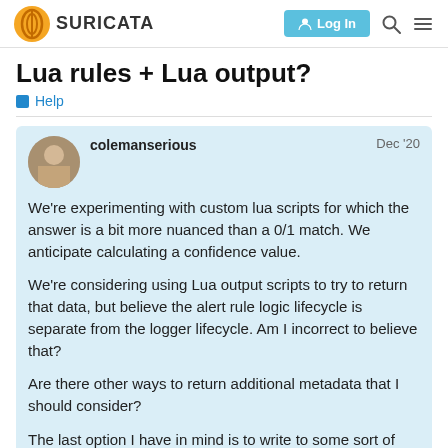SURICATA | Log In
Lua rules + Lua output?
Help
colemanserious   Dec '20
We're experimenting with custom lua scripts for which the answer is a bit more nuanced than a 0/1 match. We anticipate calculating a confidence value.

We're considering using Lua output scripts to try to return that data, but believe the alert rule logic lifecycle is separate from the logger lifecycle. Am I incorrect to believe that?

Are there other ways to return additional metadata that I should consider?

The last option I have in mind is to write to some sort of external